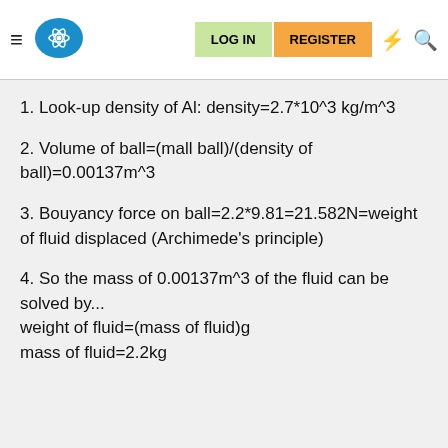LOG IN  REGISTER
1. Look-up density of Al: density=2.7*10^3 kg/m^3
2. Volume of ball=(mall ball)/(density of ball)=0.00137m^3
3. Bouyancy force on ball=2.2*9.81=21.582N=weight of fluid displaced (Archimede's principle)
4. So the mass of 0.00137m^3 of the fluid can be solved by...
weight of fluid=(mass of fluid)g
mass of fluid=2.2kg